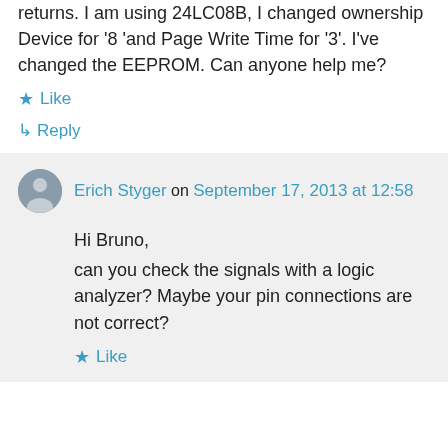returns. I am using 24LC08B, I changed ownership Device for '8 'and Page Write Time for '3'. I've changed the EEPROM. Can anyone help me?
Like
Reply
Erich Styger on September 17, 2013 at 12:58
Hi Bruno,
can you check the signals with a logic analyzer? Maybe your pin connections are not correct?
Like